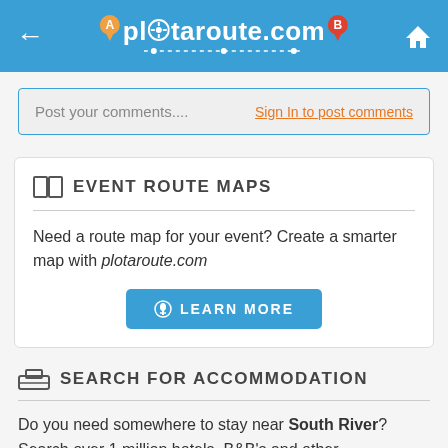plotaroute.com
Post your comments.... Sign In to post comments
EVENT ROUTE MAPS
Need a route map for your event? Create a smarter map with plotaroute.com
LEARN MORE
SEARCH FOR ACCOMMODATION
Do you need somewhere to stay near South River? Search over 1 million hotels, B&B's and other accomodation on